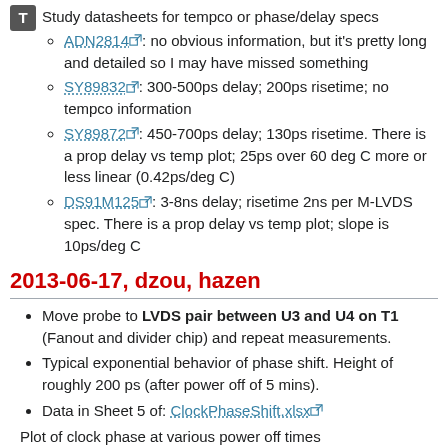Study datasheets for tempco or phase/delay specs
ADN2814: no obvious information, but it's pretty long and detailed so I may have missed something
SY89832: 300-500ps delay; 200ps risetime; no tempco information
SY89872: 450-700ps delay; 130ps risetime. There is a prop delay vs temp plot; 25ps over 60 deg C more or less linear (0.42ps/deg C)
DS91M125: 3-8ns delay; risetime 2ns per M-LVDS spec. There is a prop delay vs temp plot; slope is 10ps/deg C
2013-06-17, dzou, hazen
Move probe to LVDS pair between U3 and U4 on T1 (Fanout and divider chip) and repeat measurements.
Typical exponential behavior of phase shift. Height of roughly 200 ps (after power off of 5 mins).
Data in Sheet 5 of: ClockPhaseShift.xlsx
Plot of clock phase at various power off times